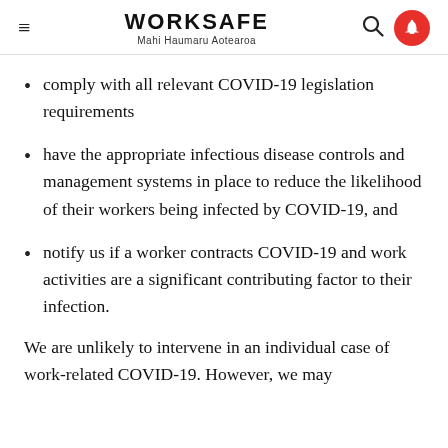WORKSAFE Mahi Haumaru Aotearoa
comply with all relevant COVID-19 legislation requirements
have the appropriate infectious disease controls and management systems in place to reduce the likelihood of their workers being infected by COVID-19, and
notify us if a worker contracts COVID-19 and work activities are a significant contributing factor to their infection.
We are unlikely to intervene in an individual case of work-related COVID-19. However, we may